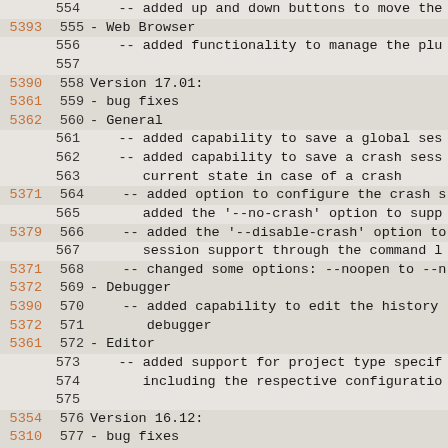Code/changelog viewer showing lines 554-583 with revision numbers and version notes
| rev | lineno | content |
| --- | --- | --- |
|  | 554 |     -- added up and down buttons to move the |
| 5393 | 555 | - Web Browser |
|  | 556 |     -- added functionality to manage the plu |
|  | 557 |  |
| 5390 | 558 | Version 17.01: |
| 5361 | 559 | - bug fixes |
| 5362 | 560 | - General |
|  | 561 |     -- added capability to save a global ses |
|  | 562 |     -- added capability to save a crash sess |
|  | 563 |        current state in case of a crash |
| 5371 | 564 |     -- added option to configure the crash s |
|  | 565 |        added the '--no-crash' option to supp |
| 5379 | 566 |     -- added the '--disable-crash' option to |
|  | 567 |        session support through the command l |
| 5371 | 568 |     -- changed some options: --noopen to --n |
| 5372 | 569 | - Debugger |
| 5390 | 570 |     -- added capability to edit the history |
| 5372 | 571 |        debugger |
| 5361 | 572 | - Editor |
|  | 573 |     -- added support for project type specif |
|  | 574 |        including the respective configuratio |
|  | 575 |  |
| 5354 | 576 | Version 16.12: |
| 5310 | 577 | - bug fixes |
| 5319 | 578 | - Mercurial Interface |
|  | 579 |     -- added context menu actions to the tag |
| 5322 | 580 |     -- added bookmark actions to the Log Bro |
| 5328 | 581 |     -- added context menu actions to the boo |
| 5330 | 582 |     -- added possibility to enter a commit a |
| 5345 | 583 |     -- added capability to enforce a tagging |